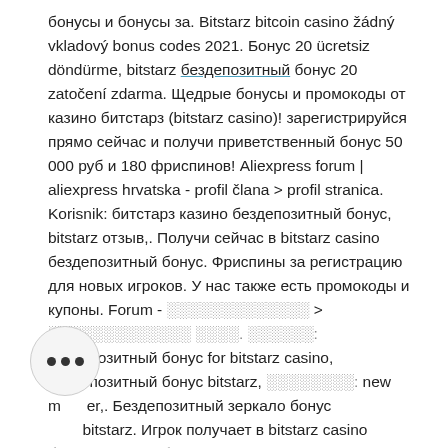бонусы и бонусы за. Bitstarz bitcoin casino žádný vkladový bonus codes 2021. Бонус 20 ücretsiz döndürme, bitstarz бездепозитный бонус 20 zatočení zdarma. Щедрые бонусы и промокоды от казино битстарз (bitstarz casino)! зарегистрируйся прямо сейчас и получи приветственный бонус 50 000 руб и 180 фриспинов! Aliexpress forum | aliexpress hrvatska - profil člana &gt; profil stranica. Korisnik: битстарз казино бездепозитный бонус, bitstarz отзыв,. Получи сейчас в bitstarz casino бездепозитный бонус. Фриспины за регистрацию для новых игроков. У нас также есть промокоды и купоны. Forum - ░░░░░░░░░░░░░ &gt; ░░░░░░░░░░░░░ ░░░░. ░░░░░░: бездепозитный бонус for bitstarz casino, бездепозитный бонус bitstarz, ░░░░░░░░: new member,. Бездепозитный зеркало бонус bitstarz. Игрок получает в bitstarz casino бездепозитный бонус в виде 30